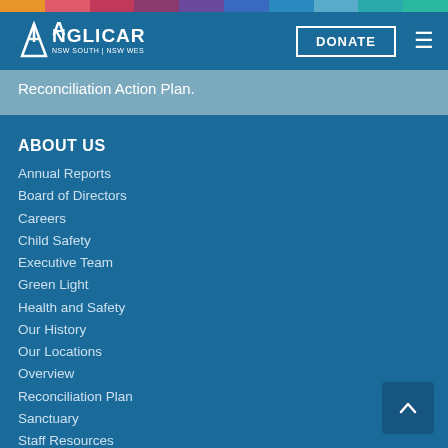Anglicare NSW South | NSW West | ACT — DONATE
Reconciliation Action Plan.
ABOUT US
Annual Reports
Board of Directors
Careers
Child Safety
Executive Team
Green Light
Health and Safety
Our History
Our Locations
Overview
Reconciliation Plan
Sanctuary
Staff Resources
Strategic Plan
Vision, Mission + Values
NEWS + RESEARCH
Events